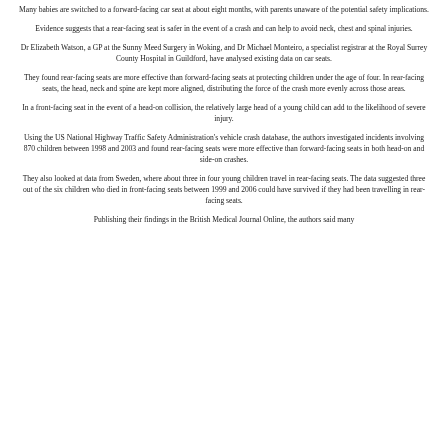Many babies are switched to a forward-facing car seat at about eight months, with parents unaware of the potential safety implications.
Evidence suggests that a rear-facing seat is safer in the event of a crash and can help to avoid neck, chest and spinal injuries.
Dr Elizabeth Watson, a GP at the Sunny Meed Surgery in Woking, and Dr Michael Monteiro, a specialist registrar at the Royal Surrey County Hospital in Guildford, have analysed existing data on car seats.
They found rear-facing seats are more effective than forward-facing seats at protecting children under the age of four. In rear-facing seats, the head, neck and spine are kept more aligned, distributing the force of the crash more evenly across those areas.
In a front-facing seat in the event of a head-on collision, the relatively large head of a young child can add to the likelihood of severe injury.
Using the US National Highway Traffic Safety Administration's vehicle crash database, the authors investigated incidents involving 870 children between 1998 and 2003 and found rear-facing seats were more effective than forward-facing seats in both head-on and side-on crashes.
They also looked at data from Sweden, where about three in four young children travel in rear-facing seats. The data suggested three out of the six children who died in front-facing seats between 1999 and 2006 could have survived if they had been travelling in rear-facing seats.
Publishing their findings in the British Medical Journal Online, the authors said many